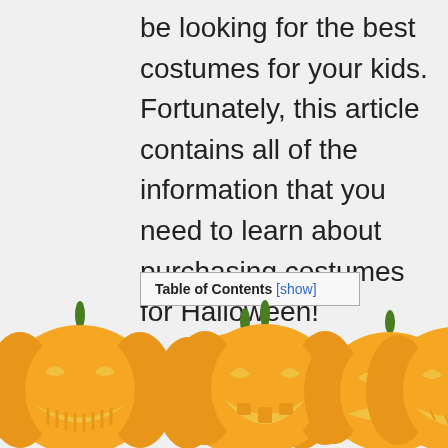be looking for the best costumes for your kids. Fortunately, this article contains all of the information that you need to learn about purchasing costumes for Halloween!
Table of Contents [show]
[Figure (illustration): A row of five carved Halloween jack-o'-lantern pumpkins with glowing faces, partially cut off at the bottom of the page. Each pumpkin has a green stem and a different carved face pattern.]